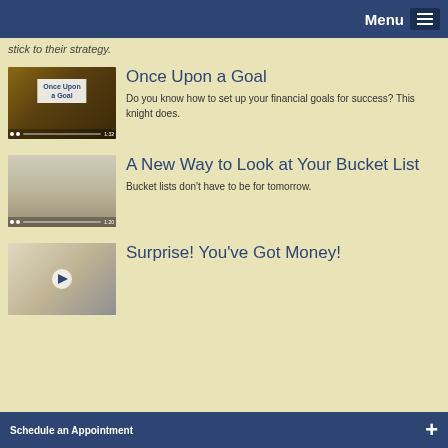Menu
stick to their strategy.
[Figure (screenshot): Video thumbnail for 'Once Upon a Goal' showing a medieval dragon/knight themed graphic with title overlay and 1:32 timer]
Once Upon a Goal
Do you know how to set up your financial goals for success? This knight does.
[Figure (screenshot): Video thumbnail showing hands holding a tablet with illustrated bucket list scenes and 1:20 timer]
A New Way to Look at Your Bucket List
Bucket lists don't have to be for tomorrow.
[Figure (screenshot): Video thumbnail showing hands writing or drawing with a play button overlay]
Surprise! You've Got Money!
Schedule an Appointment